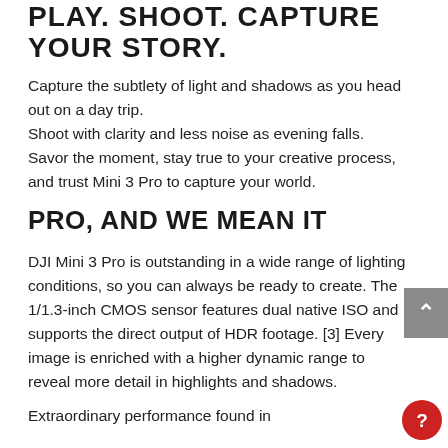PLAY. SHOOT. CAPTURE YOUR STORY.
Capture the subtlety of light and shadows as you head out on a day trip.
Shoot with clarity and less noise as evening falls.
Savor the moment, stay true to your creative process, and trust Mini 3 Pro to capture your world.
PRO, AND WE MEAN IT
DJI Mini 3 Pro is outstanding in a wide range of lighting conditions, so you can always be ready to create. The 1/1.3-inch CMOS sensor features dual native ISO and supports the direct output of HDR footage. [3] Every image is enriched with a higher dynamic range to reveal more detail in highlights and shadows.
Extraordinary performance found in